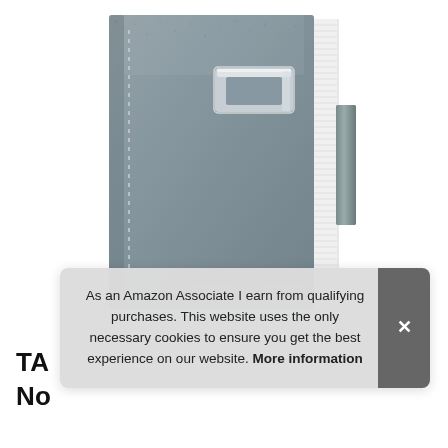[Figure (photo): A gray faux-leather hardcover notebook/journal with a silver metal clasp closure and a gray leather strap on the right side. The cover has visible stitching along the bottom and a suede-like texture. Pages are visible on the right spine.]
As an Amazon Associate I earn from qualifying purchases. This website uses the only necessary cookies to ensure you get the best experience on our website. More information
TA... No...